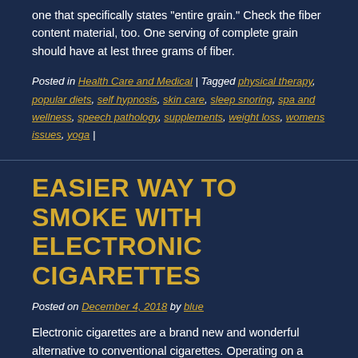one that specifically states "entire grain." Check the fiber content material, too. One serving of complete grain should have at lest three grams of fiber.
Posted in Health Care and Medical | Tagged physical therapy, popular diets, self hypnosis, skin care, sleep snoring, spa and wellness, speech pathology, supplements, weight loss, womens issues, yoga |
EASIER WAY TO SMOKE WITH ELECTRONIC CIGARETTES
Posted on December 4, 2018 by blue
Electronic cigarettes are a brand new and wonderful alternative to conventional cigarettes. Operating on a rechargeable battery, these cigarettes allow one to inhale varying doses of nicotine. The cigarettes offer the nicotine taste and sensation of smoking without the real smoke. Although there are disposable electronic cigarettes available, most are reusable and can be refilled with an e